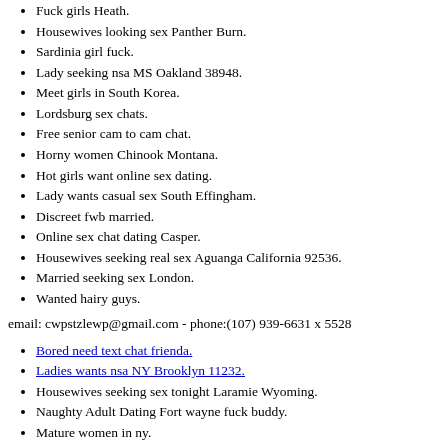Fuck girls Heath.
Housewives looking sex Panther Burn.
Sardinia girl fuck.
Lady seeking nsa MS Oakland 38948.
Meet girls in South Korea.
Lordsburg sex chats.
Free senior cam to cam chat.
Horny women Chinook Montana.
Hot girls want online sex dating.
Lady wants casual sex South Effingham.
Discreet fwb married.
Online sex chat dating Casper.
Housewives seeking real sex Aguanga California 92536.
Married seeking sex London.
Wanted hairy guys.
email: cwpstzlewp@gmail.com - phone:(107) 939-6631 x 5528
Bored need text chat frienda.
Ladies wants nsa NY Brooklyn 11232.
Housewives seeking sex tonight Laramie Wyoming.
Naughty Adult Dating Fort wayne fuck buddy.
Mature women in ny.
Slut seeking ltr.
Ladies seeking nsa Loomis Nebraska 68958.